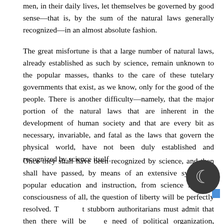men, in their daily lives, let themselves be governed by good sense—that is, by the sum of the natural laws generally recognized—in an almost absolute fashion.
The great misfortune is that a large number of natural laws, already established as such by science, remain unknown to the popular masses, thanks to the care of these tutelary governments that exist, as we know, only for the good of the people. There is another difficulty—namely, that the major portion of the natural laws that are inherent in the development of human society and that are every bit as necessary, invariable, and fatal as the laws that govern the physical world, have not been duly established and recognized by science itself.
Once they shall have been recognized by science, and then shall have passed, by means of an extensive system of popular education and instruction, from science into the consciousness of all, the question of liberty will be perfectly resolved. The most stubborn authoritarians must admit that then there will be no need of political organization, direction or legislation, three things which, whether they emanate from the will of the sovereign, or